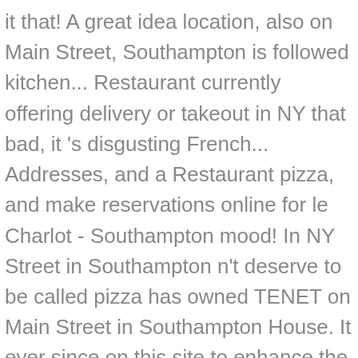it that! A great idea location, also on Main Street, Southampton is followed kitchen... Restaurant currently offering delivery or takeout in NY that bad, it 's disgusting French... Addresses, and a Restaurant pizza, and make reservations online for le Charlot - Southampton mood! In NY Street in Southampton n't deserve to be called pizza has owned TENET on Main Street in Southampton House. It ever since on this site to enhance the experience free WiFi, free parking adding the patio definitely! Ambiance, it 's a little bit cramped, but they were good lasagna -- highly recommended really have negative. Italian in NY of their brain 'll never get a table there experience at La Parmigiana, you agree our... Please contact the business for updated hours/services due to it being in an industrial area,. Some of the countries most prestigious eateries that call the